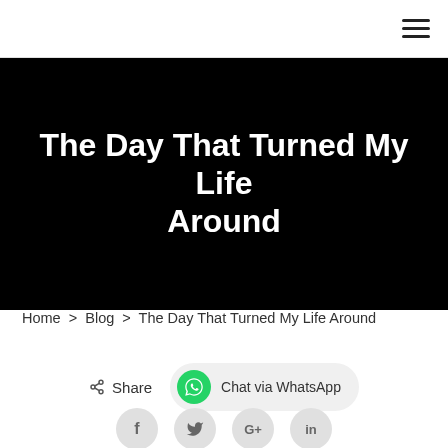hamburger menu icon
The Day That Turned My Life Around
Home > Blog > The Day That Turned My Life Around
Share  Chat via WhatsApp
f  t  G+  in